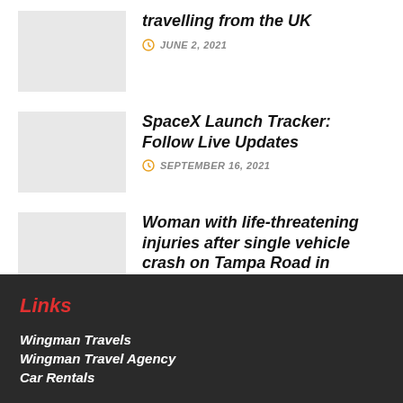[Figure (photo): Thumbnail image placeholder for article about travelling from the UK]
travelling from the UK
JUNE 2, 2021
[Figure (photo): Thumbnail image placeholder for SpaceX Launch Tracker article]
SpaceX Launch Tracker: Follow Live Updates
SEPTEMBER 16, 2021
[Figure (photo): Thumbnail image placeholder for Woman with life-threatening injuries article]
Woman with life-threatening injuries after single vehicle crash on Tampa Road in Oldsmar
NOVEMBER 7, 2021
Links
Wingman Travels
Wingman Travel Agency
Car Rentals